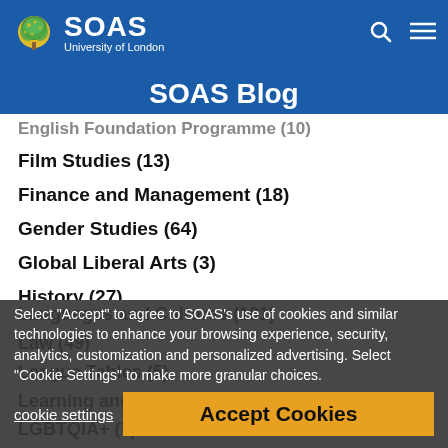[Figure (logo): SOAS University of London logo with tree icon and text on blue header bar]
SOAS Blog
Film Studies (13)
Finance and Management (18)
Gender Studies (64)
Global Liberal Arts (3)
History (27)
History of Art and Archaeology (17)
International Studies and Diplomacy (2)
Languages and Cultures (101)
Law (49)
League Tables (5)
Learning and Teaching (3)
LGBTQIA+ (7)
Life at SOAS (352)
Linguistics (17)
Select "Accept" to agree to SOAS's use of cookies and similar technologies to enhance your browsing experience, security, analytics, customization and personalized advertising. Select "Cookie Settings" to make more granular choices.